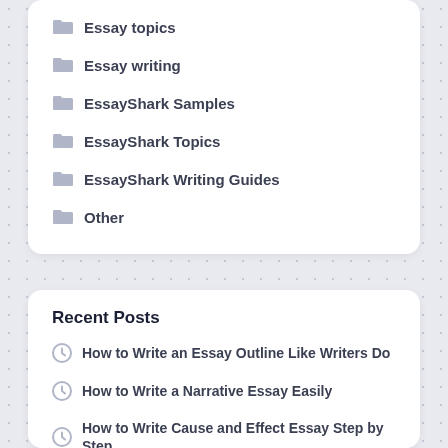Essay topics
Essay writing
EssayShark Samples
EssayShark Topics
EssayShark Writing Guides
Other
Recent Posts
How to Write an Essay Outline Like Writers Do
How to Write a Narrative Essay Easily
How to Write Cause and Effect Essay Step by Step